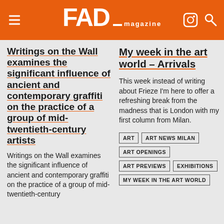FAD magazine
Writings on the Wall examines the significant influence of ancient and contemporary graffiti on the practice of a group of mid-twentieth-century artists
Writings on the Wall examines the significant influence of ancient and contemporary graffiti on the practice of a group of mid-twentieth-century
My week in the art world – Arrivals
This week instead of writing about Frieze I'm here to offer a refreshing break from the madness that is London with my first column from Milan.
ART
ART NEWS MILAN
ART OPENINGS
ART PREVIEWS
EXHIBITIONS
MY WEEK IN THE ART WORLD